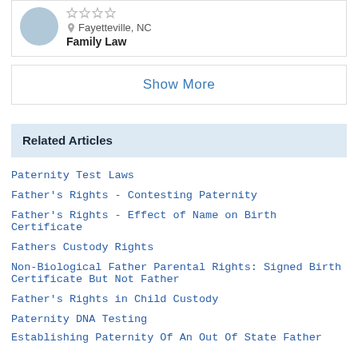[Figure (photo): Attorney profile card with avatar, star rating, location Fayetteville NC, and practice area Family Law]
Fayetteville, NC
Family Law
Show More
Related Articles
Paternity Test Laws
Father's Rights - Contesting Paternity
Father's Rights - Effect of Name on Birth Certificate
Fathers Custody Rights
Non-Biological Father Parental Rights: Signed Birth Certificate But Not Father
Father's Rights in Child Custody
Paternity DNA Testing
Establishing Paternity Of An Out Of State Father